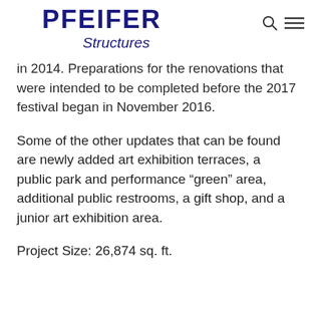PFEIFER Structures
in 2014. Preparations for the renovations that were intended to be completed before the 2017 festival began in November 2016.
Some of the other updates that can be found are newly added art exhibition terraces, a public park and performance “green” area, additional public restrooms, a gift shop, and a junior art exhibition area.
Project Size: 26,874 sq. ft.